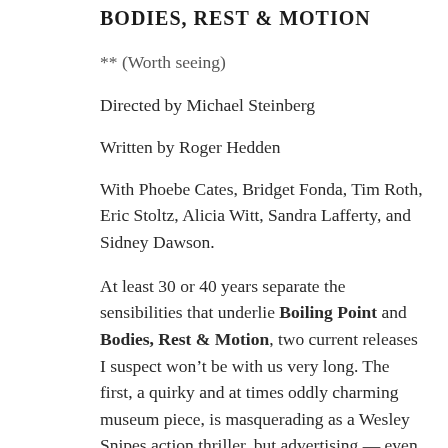BODIES, REST & MOTION
** (Worth seeing)
Directed by Michael Steinberg
Written by Roger Hedden
With Phoebe Cates, Bridget Fonda, Tim Roth, Eric Stoltz, Alicia Witt, Sandra Lafferty, and Sidney Dawson.
At least 30 or 40 years separate the sensibilities that underlie Boiling Point and Bodies, Rest & Motion, two current releases I suspect won’t be with us very long. The first, a quirky and at times oddly charming museum piece, is masquerading as a Wesley Snipes action thriller, but advertising — even wall-to-wall — isn’t everything. The writer-director, James B. Harris, who was born in 1928, produced the first three important Stanley Kubrick